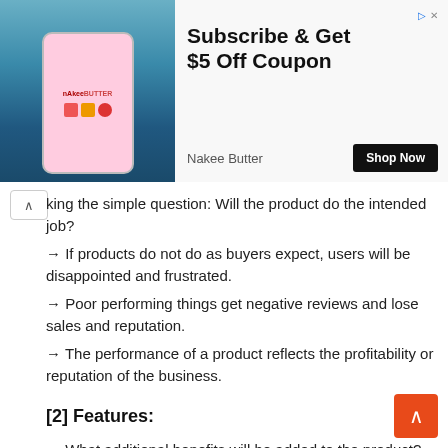[Figure (screenshot): Advertisement banner for Nakee Butter showing a phone with app interface on left, and text 'Subscribe & Get $5 Off Coupon' with 'Shop Now' button and 'Nakee Butter' brand name on right]
king the simple question: Will the product do the intended job?
→ If products do not do as buyers expect, users will be disappointed and frustrated.
→ Poor performing things get negative reviews and lose sales and reputation.
→ The performance of a product reflects the profitability or reputation of the business.
[2] Features:
→ What additional benefits will be added to the product?
→ Some features will be present in all things.